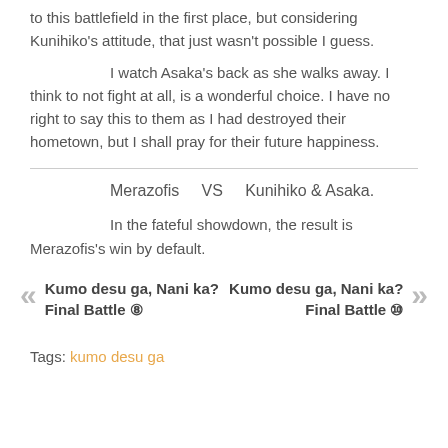The optimal solution would have likely been to not come to this battlefield in the first place, but considering Kunihiko's attitude, that just wasn't possible I guess.
I watch Asaka's back as she walks away. I think to not fight at all, is a wonderful choice. I have no right to say this to them as I had destroyed their hometown, but I shall pray for their future happiness.
Merazofis    VS    Kunihiko & Asaka.
In the fateful showdown, the result is Merazofis's win by default.
Kumo desu ga, Nani ka?
Final Battle ⑧
Kumo desu ga, Nani ka?
Final Battle ⑩
Tags: kumo desu ga